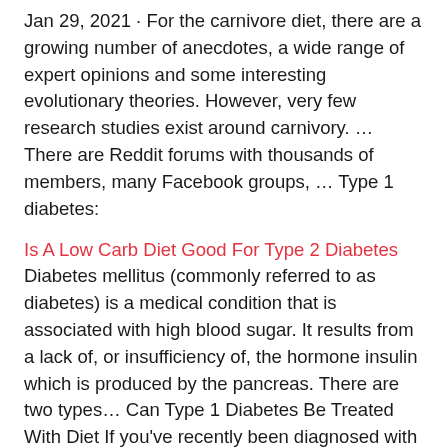Jan 29, 2021  · For the carnivore diet, there are a growing number of anecdotes, a wide range of expert opinions and some interesting evolutionary theories. However, very few research studies exist around carnivory. … There are Reddit forums with thousands of members, many Facebook groups, … Type 1 diabetes:
Is A Low Carb Diet Good For Type 2 Diabetes Diabetes mellitus (commonly referred to as diabetes) is a medical condition that is associated with high blood sugar. It results from a lack of, or insufficiency of, the hormone insulin which is produced by the pancreas. There are two types… Can Type 1 Diabetes Be Treated With Diet If you've recently been diagnosed with type
Sep 23, 2018  · I'd like to post an update about my trial of the carnivore diet. I've now been mostly carnivore for 2 weeks, and I'm loving it! Eating meat, fish & eggs (plus spices and very occasional veggies, I'm not 100% yet) for 3 meals a day has really helped curb my overeating urges.